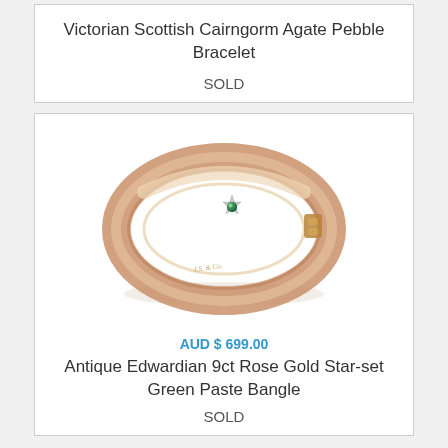Victorian Scottish Cairngorm Agate Pebble Bracelet
SOLD
[Figure (photo): Photo of an antique Edwardian 9ct rose gold bangle with a star-set green paste stone, shown from above on white background.]
AUD $ 699.00
Antique Edwardian 9ct Rose Gold Star-set Green Paste Bangle
SOLD